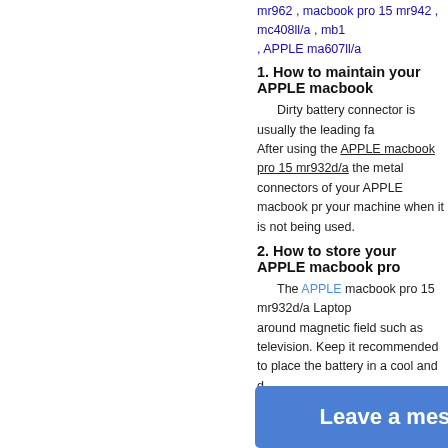mr962 , macbook pro 15 mr942 , mc408ll/a , mb1 , APPLE ma607ll/a
1. How to maintain your APPLE macbook
Dirty battery connector is usually the leading fa... After using the APPLE macbook pro 15 mr932d/a the metal connectors of your APPLE macbook pr... your machine when it is not being used.
2. How to store your APPLE macbook pro
The APPLE macbook pro 15 mr932d/a Laptop around magnetic field such as television. Keep it recommended to place the battery in a cool and d...
3. Have you found any problems with our
If you find any mistakes of the item description adapters on our website, please email us. we will
[Figure (logo): UPS, DHL, and a red cube/package shipping logos]
Disclaimer: The batteries supplied by our Company are [replac... and any reference to products or trademarks of such c... manufacturers with which our products [are replaceme... y, distributors for, nor rela... ebsite manufactured by e... ement for] may be used.
Leave a message